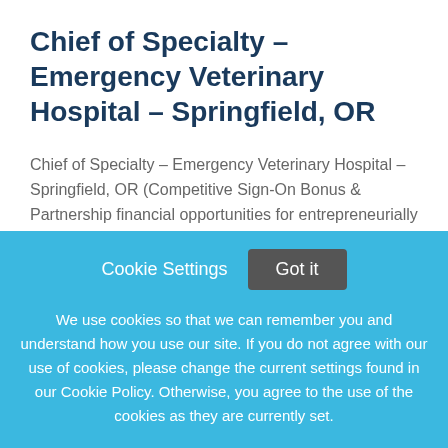Chief of Specialty – Emergency Veterinary Hospital – Springfield, OR
Chief of Specialty – Emergency Veterinary Hospital – Springfield, OR (Competitive Sign-On Bonus & Partnership financial opportunities for entrepreneurially minded applicants) Emergency Veterinary Hospital is
This job listing is no longer active.
Cookie Settings   Got it
We use cookies so that we can remember you and understand how you use our site. If you do not agree with our use of cookies, please change the current settings found in our Cookie Policy. Otherwise, you agree to the use of the cookies as they are currently set.